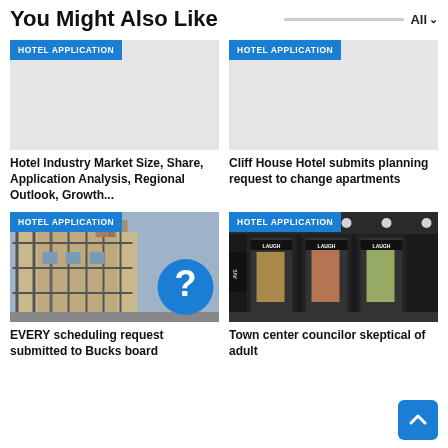You Might Also Like
[Figure (screenshot): Card with HOTEL APPLICATION badge, grey placeholder image. Title: Hotel Industry Market Size, Share, Application Analysis, Regional Outlook, Growth...]
[Figure (screenshot): Card with HOTEL APPLICATION badge, grey placeholder image. Title: Cliff House Hotel submits planning request to change apartments]
Hotel Industry Market Size, Share, Application Analysis, Regional Outlook, Growth...
Cliff House Hotel submits planning request to change apartments
[Figure (photo): Card with HOTEL APPLICATION badge, construction/scaffolding photo with blue question mark circle overlay. Title: EVERY scheduling request submitted to Bucks board...]
[Figure (photo): Card with HOTEL APPLICATION badge, storefront at night photo. Title: Town center councilor skeptical of adult...]
EVERY scheduling request submitted to Bucks board
Town center councilor skeptical of adult